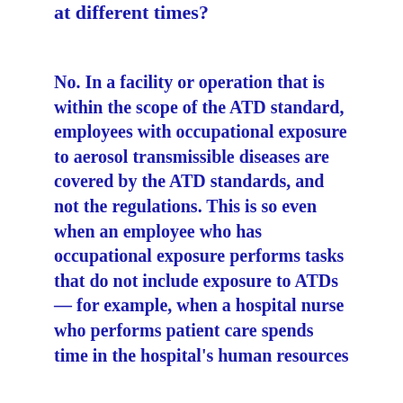at different times?
No. In a facility or operation that is within the scope of the ATD standard, employees with occupational exposure to aerosol transmissible diseases are covered by the ATD standards, and not the regulations. This is so even when an employee who has occupational exposure performs tasks that do not include exposure to ATDs — for example, when a hospital nurse who performs patient care spends time in the hospital's human resources